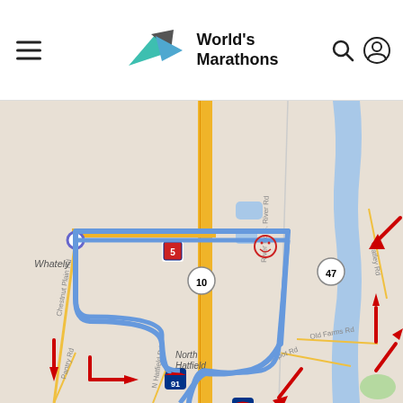World's Marathons
[Figure (map): Marathon route map showing a blue loop route through Whately and North Hatfield area, Massachusetts. Route overlaid on road map with red directional arrows indicating direction of travel. Roads visible include Route 5, Route 10, Route 91, Route 47, Chestnut Plain Rd, River Rd S, River Rd, Pantry Rd, N Hatfield Rd, Depot Rd, and others. A river (Connecticut River) is visible on the right side. The course forms a loop with annotated red arrows.]